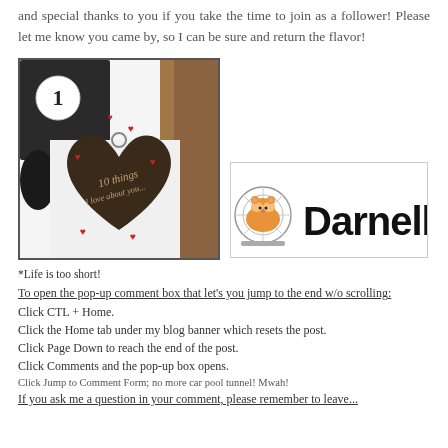and special thanks to you if you take the time to join as a follower! Please let me know you came by, so I can be sure and return the flavor!
[Figure (photo): Heart-shaped keychain or tag engraved with '10 things I love about you' text, surrounded by small red heart decorations on a white background, with dark fabric/item visible]
[Figure (illustration): Darnell logo: a cartoon orange hamster on a wheel on the left, and the word 'Darnell' in large bold black display font on the right]
*Life is too short!
To open the pop-up comment box that let's you jump to the end w/o scrolling:
Click CTL + Home.
Click the Home tab under my blog banner which resets the post.
Click Page Down to reach the end of the post.
Click Comments and the pop-up box opens.
Click Jump to Comment Form; no more car pool tunnel! Mwah!
If you ask me a question in your comment, please remember to leave...